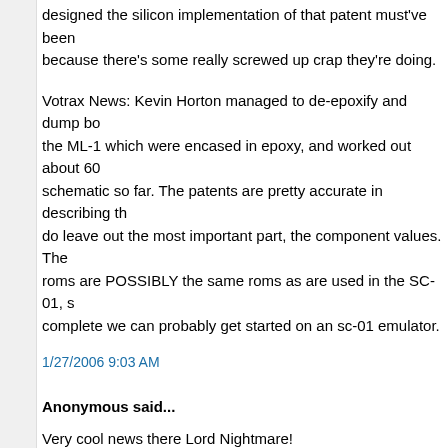designed the silicon implementation of that patent must've been because there's some really screwed up crap they're doing.
Votrax News: Kevin Horton managed to de-epoxify and dump bo the ML-1 which were encased in epoxy, and worked out about 60 schematic so far. The patents are pretty accurate in describing th do leave out the most important part, the component values. The roms are POSSIBLY the same roms as are used in the SC-01, s complete we can probably get started on an sc-01 emulator.
1/27/2006 9:03 AM
Anonymous said...
Very cool news there Lord Nightmare!
So any idea wht this means for Q*bert speech?
1/28/2006 8:34 PM
Anonymous said...
Once we get some semblance of the SC-01 emulation done, anc related modifications to the Q*bert driver, Q*bert will no longer ne and hence the speech by the monsters, Q*bert, etc will be correc randomly choosing one of ten samples as it does now. In additio Gorf will be able to have speech without needing samples, after s modifications too.